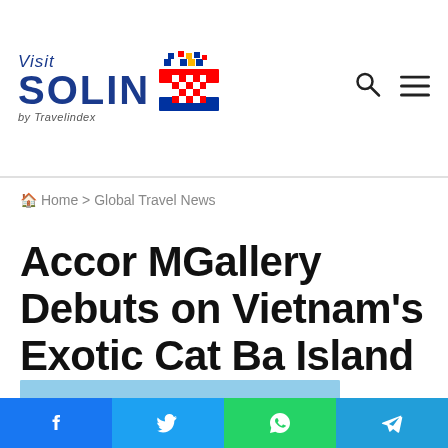Visit SOLIN by Travelindex
Home > Global Travel News
Accor MGallery Debuts on Vietnam's Exotic Cat Ba Island
[Figure (photo): Partial view of Cat Ba Island scenery with blue sky and green hills]
Facebook | Twitter | WhatsApp | Telegram share buttons